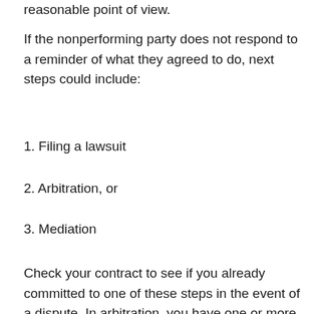reasonable point of view.
If the nonperforming party does not respond to a reminder of what they agreed to do, next steps could include:
1. Filing a lawsuit
2. Arbitration, or
3. Mediation
Check your contract to see if you already committed to one of these steps in the event of a dispute. In arbitration, you have one or more arbitrators, who act somewhat like judges, in that they hear both positions and the evidence each side has gathered so far, weigh each side’s position, and make a determination, all with less